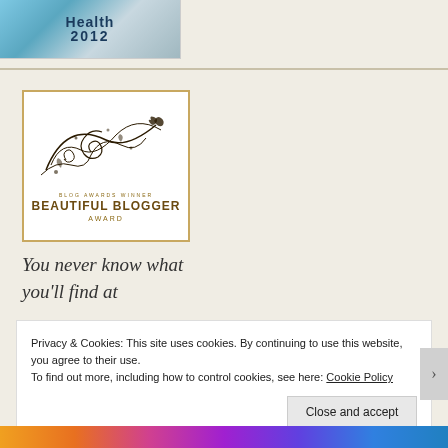[Figure (logo): Health 2012 badge/logo with stylized text on blue-teal background]
[Figure (illustration): Beautiful Blogger Award badge with decorative flourish/swirl design and butterflies, text reads BLOG AWARDS WINNER BEAUTIFUL BLOGGER AWARD]
You never know what you'll find at
Privacy & Cookies: This site uses cookies. By continuing to use this website, you agree to their use. To find out more, including how to control cookies, see here: Cookie Policy
Close and accept